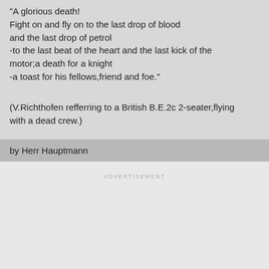"A glorious death!
Fight on and fly on to the last drop of blood and the last drop of petrol
-to the last beat of the heart and the last kick of the motor;a death for a knight
-a toast for his fellows,friend and foe."

(V.Richthofen refferring to a British B.E.2c 2-seater,flying with a dead crew.)
by Herr Hauptmann
ADVERTISEMENT